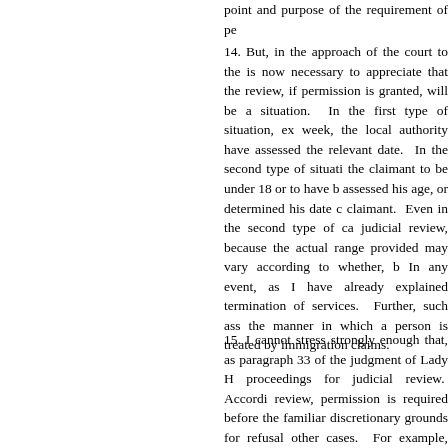point and purpose of the requirement of pe
14. But, in the approach of the court to the is now necessary to appreciate that the review, if permission is granted, will be a situation. In the first type of situation, ex week, the local authority have assessed the relevant date. In the second type of situati the claimant to be under 18 or to have b assessed his age, or determined his date c claimant. Even in the second type of ca judicial review, because the actual range provided may vary according to whether, b In any event, as I have already explained termination of services. Further, such ass the manner in which a person is treated by immigration claims.
15. I cannot stress strongly enough that, as paragraph 33 of the judgment of Lady H proceedings for judicial review. Accordi review, permission is required before the familiar discretionary grounds for refusal other cases. For example, delay or that th reason there is no useful purpose in the become a matter of formality in these case and reflecting that the relevant question in granted, will be a pure question of fact, it